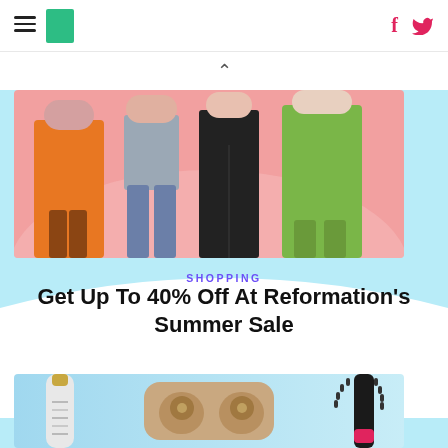HuffPost navigation with hamburger menu, logo, Facebook and Twitter icons
[Figure (photo): Fashion photo showing four women in various outfits (orange dress, jeans, black outfit, green gown) against a pink background]
SHOPPING
Get Up To 40% Off At Reformation's Summer Sale
[Figure (photo): Product photo showing a white water bottle with gold cap, rose gold wireless earbuds in case, and a black and pink hair styling brush on blue background]